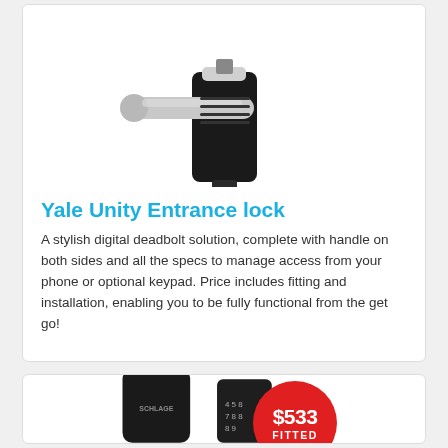[Figure (photo): Yale Unity Entrance lock product photo showing silver handle with black electronic lock body]
Yale Unity Entrance lock
A stylish digital deadbolt solution, complete with handle on both sides and all the specs to manage access from your phone or optional keypad. Price includes fitting and installation, enabling you to be fully functional from the get go!
[Figure (photo): Schlage digital lock product photo with $533 FITTED red price badge]
$533 FITTED